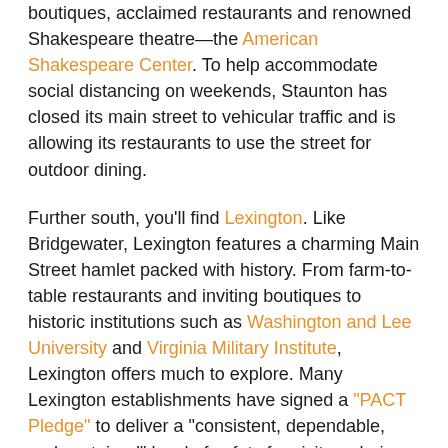boutiques, acclaimed restaurants and renowned Shakespeare theatre—the American Shakespeare Center. To help accommodate social distancing on weekends, Staunton has closed its main street to vehicular traffic and is allowing its restaurants to use the street for outdoor dining.
Further south, you'll find Lexington. Like Bridgewater, Lexington features a charming Main Street hamlet packed with history. From farm-to-table restaurants and inviting boutiques to historic institutions such as Washington and Lee University and Virginia Military Institute, Lexington offers much to explore. Many Lexington establishments have signed a "PACT Pledge" to deliver a "consistent, dependable, and sustained" level of safety for visitors during the COVID-19 outbreak.
The 2020 pandemic may have put the brakes on air travel and ocean cruises. But the staycation can be just